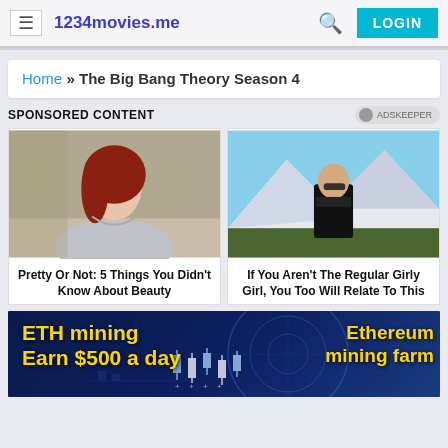1234movies.me — LOGIN
Home » The Big Bang Theory Season 4
SPONSORED CONTENT
[Figure (photo): Ad card: woman with red hair in silver dress. Caption: Pretty Or Not: 5 Things You Didn't Know About Beauty]
[Figure (photo): Ad card: woman in black jacket with sunglasses, snowy mountain backdrop. Caption: If You Aren't The Regular Girly Girl, You Too Will Relate To This]
[Figure (infographic): Banner ad with dark blue background, candlestick chart graphic, and text: ETH mining Earn $500 a day / Ethereum mining farm]